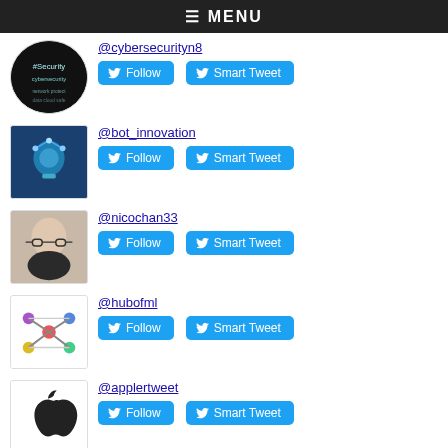≡ MENU
@cybersecurityn8 — Follow, Smart Tweet
@bot_innovation — Follow, Smart Tweet
@nicochan33 — Follow, Smart Tweet
@hubofml — Follow, Smart Tweet
@applertweet — Follow, Smart Tweet
@rwang0 — Follow, Smart Tweet
@gvalan — Follow, Smart Tweet
Top Tweeter in M...